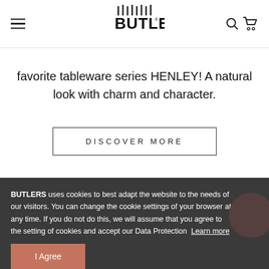BUTLERS [logo with navigation icons]
favorite tableware series HENLEY! A natural look with charm and character.
DISCOVER MORE
BUTLERS uses cookies to best adapt the website to the needs of our visitors. You can change the cookie settings of your browser at any time. If you do not do this, we will assume that you agree to the setting of cookies and accept our Data Protection  Learn more
I Agree